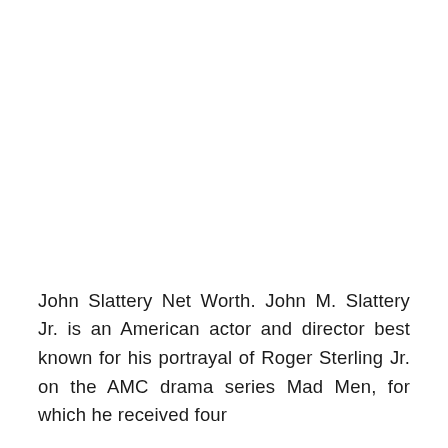John Slattery Net Worth. John M. Slattery Jr. is an American actor and director best known for his portrayal of Roger Sterling Jr. on the AMC drama series Mad Men, for which he received four